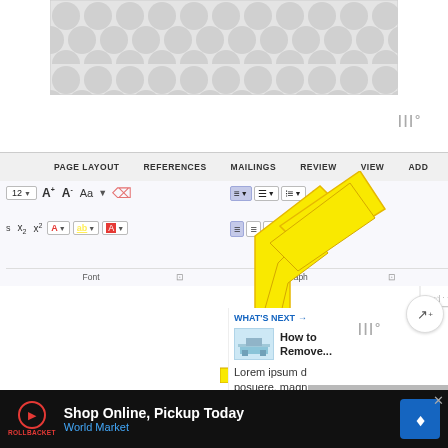[Figure (screenshot): Decorative pattern banner at the top of the page showing a gray repeating circular/bubble pattern on light gray background]
[Figure (screenshot): Screenshot of Microsoft Word ribbon interface showing PAGE LAYOUT, REFERENCES, MAILINGS, REVIEW, VIEW, ADD tabs. Font and Paragraph groups visible. A large yellow arrow pointing up-right toward the paragraph mark (pilcrow) button. Style preview showing AaBbC with a heart icon. Share button visible.]
[Figure (screenshot): What's Next panel showing 'How to Remove...' article with thumbnail, and Lorem ipsum placeholder text below.]
[Figure (screenshot): Advertisement bar at bottom: Shop Online, Pickup Today - World Market, with play button, logo, navigation icon and close button.]